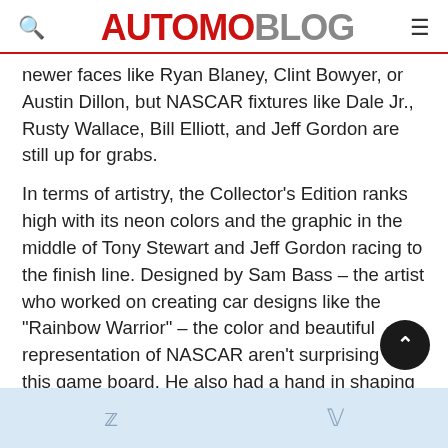AUTOMOBLOG
newer faces like Ryan Blaney, Clint Bowyer, or Austin Dillon, but NASCAR fixtures like Dale Jr., Rusty Wallace, Bill Elliott, and Jeff Gordon are still up for grabs.
In terms of artistry, the Collector’s Edition ranks high with its neon colors and the graphic in the middle of Tony Stewart and Jeff Gordon racing to the finish line. Designed by Sam Bass – the artist who worked on creating car designs like the “Rainbow Warrior” – the color and beautiful representation of NASCAR aren’t surprising on this game board. He also had a hand in shaping the pewter pieces, not forgetting to include things you see at every NASCAR race, like the small